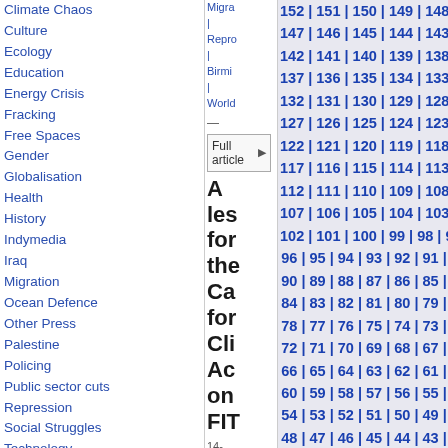Climate Chaos
Culture
Ecology
Education
Energy Crisis
Fracking
Free Spaces
Gender
Globalisation
Health
History
Indymedia
Iraq
Migration
Ocean Defence
Other Press
Palestine
Policing
Public sector cuts
Repression
Social Struggles
Technology
Terror War
Workers' Movements
Migra
Repro
Birmi
World
Full article ▶
A les for the Ca for Cli Ac on FIT
14-08-2007 06:22
| was stop
152 | 151 | 150 | 149 | 148 | 147 | 146 | 145 | 144 | 143 | 142 | 141 | 140 | 139 | 138 | 137 | 136 | 135 | 134 | 133 | 132 | 131 | 130 | 129 | 128 | 127 | 126 | 125 | 124 | 123 | 122 | 121 | 120 | 119 | 118 | 117 | 116 | 115 | 114 | 113 | 112 | 111 | 110 | 109 | 108 | 107 | 106 | 105 | 104 | 103 | 102 | 101 | 100 | 99 | 98 | 97 | 96 | 95 | 94 | 93 | 92 | 91 | 90 | 89 | 88 | 87 | 86 | 85 | 84 | 83 | 82 | 81 | 80 | 79 | 78 | 77 | 76 | 75 | 74 | 73 | 72 | 71 | 70 | 69 | 68 | 67 | 66 | 65 | 64 | 63 | 62 | 61 | 60 | 59 | 58 | 57 | 56 | 55 | 54 | 53 | 52 | 51 | 50 | 49 | 48 | 47 | 46 | 45 | 44 | 43 | 42 | 41 | 40 | 39 | 38 | 37 | 36 | 35 | 34 | 33 | 32 | 31 | 30 | 29 | 28 | 27 | 26 | 25 | 24 | 23 | 22 | 21 | 20 | 19 | 18 | 17 | 16 | 15 | 14 | 13 | 12 | 11 | 10 | 9 | 8 | 7 | 6 | 5 | 4 | 3 | 2 | 1